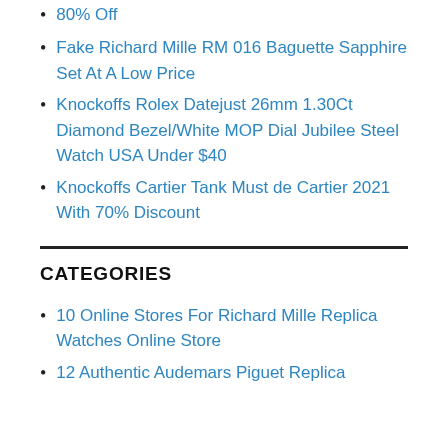80% Off
Fake Richard Mille RM 016 Baguette Sapphire Set At A Low Price
Knockoffs Rolex Datejust 26mm 1.30Ct Diamond Bezel/White MOP Dial Jubilee Steel Watch USA Under $40
Knockoffs Cartier Tank Must de Cartier 2021 With 70% Discount
CATEGORIES
10 Online Stores For Richard Mille Replica Watches Online Store
12 Authentic Audemars Piguet Replica